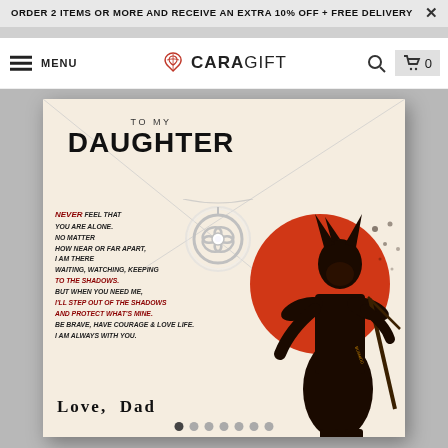ORDER 2 ITEMS OR MORE AND RECEIVE AN EXTRA 10% OFF + FREE DELIVERY
[Figure (screenshot): CaGift website navigation bar with menu, logo, search, and cart icons]
[Figure (photo): Gift card product image: 'To My Daughter' samurai-themed greeting card with love knot necklace pendant, poem text, samurai silhouette with red sun, signed 'Love, Dad']